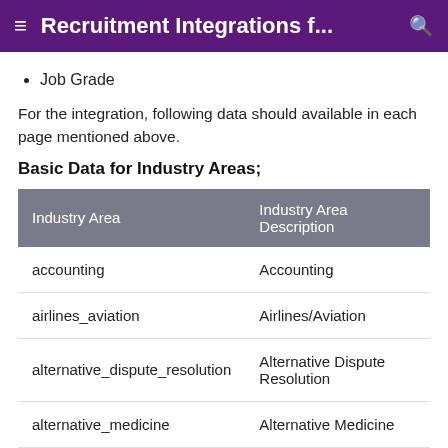Recruitment Integrations f...
Job Grade
For the integration, following data should available in each page mentioned above.
Basic Data for Industry Areas;
| Industry Area | Industry Area Description |
| --- | --- |
| accounting | Accounting |
| airlines_aviation | Airlines/Aviation |
| alternative_dispute_resolution | Alternative Dispute Resolution |
| alternative_medicine | Alternative Medicine |